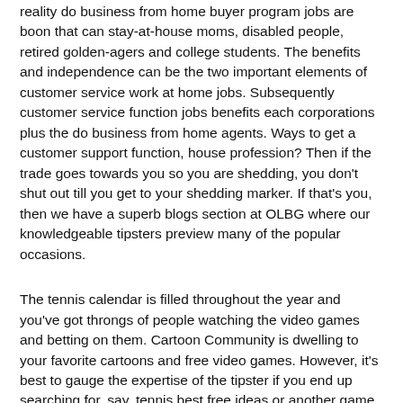reality do business from home buyer program jobs are boon that can stay-at-house moms, disabled people, retired golden-agers and college students. The benefits and independence can be the two important elements of customer service work at home jobs. Subsequently customer service function jobs benefits each corporations plus the do business from home agents. Ways to get a customer support function, house profession? Then if the trade goes towards you so you are shedding, you don't shut out till you get to your shedding marker. If that's you, then we have a superb blogs section at OLBG where our knowledgeable tipsters preview many of the popular occasions.
The tennis calendar is filled throughout the year and you've got throngs of people watching the video games and betting on them. Cartoon Community is dwelling to your favorite cartoons and free video games. However, it's best to gauge the expertise of the tipster if you end up searching for, say, tennis best free ideas or another game. Are you in search of gaming articles? It is exceptional how a lot progress has been made within the free online gaming market previously 5 or so years. Paid features accessible. People play to expertise fun and thrill of the game and in addition because on-line gaming affords manner of earning money sitting right at dwelling. Beat your friends to the appropriate answers. The next ideas will allow you to select the precise photo voltaic panels for you